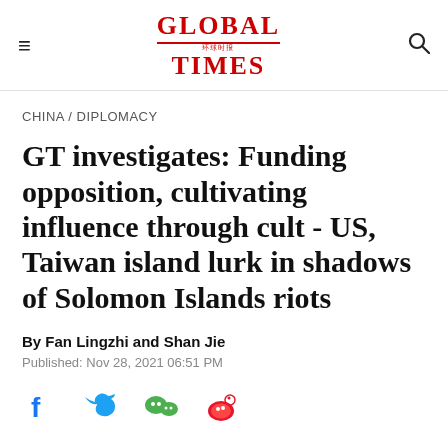Global Times
CHINA / DIPLOMACY
GT investigates: Funding opposition, cultivating influence through cult - US, Taiwan island lurk in shadows of Solomon Islands riots
By Fan Lingzhi and Shan Jie
Published: Nov 28, 2021 06:51 PM
[Figure (other): Social media share icons: Facebook, Twitter, WeChat, Weibo]